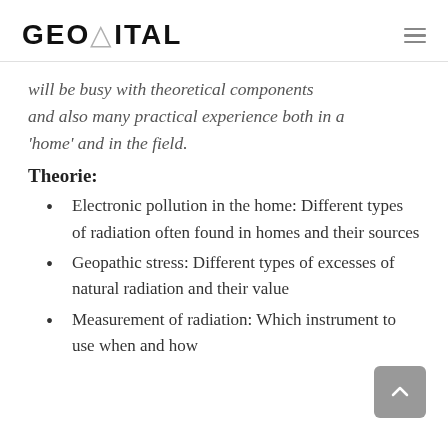GEOVITAL
will be busy with theoretical components and also many practical experience both in a 'home' and in the field.
Theorie:
Electronic pollution in the home: Different types of radiation often found in homes and their sources
Geopathic stress: Different types of excesses of natural radiation and their value
Measurement of radiation: Which instrument to use when and how